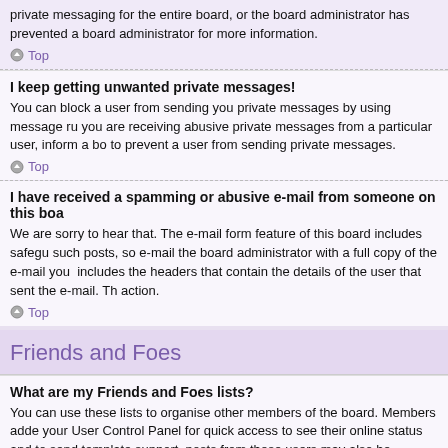private messaging for the entire board, or the board administrator has prevented a board administrator for more information.
Top
I keep getting unwanted private messages!
You can block a user from sending you private messages by using message rules you are receiving abusive private messages from a particular user, inform a board to prevent a user from sending private messages.
Top
I have received a spamming or abusive e-mail from someone on this board
We are sorry to hear that. The e-mail form feature of this board includes safeguards such posts, so e-mail the board administrator with a full copy of the e-mail you includes the headers that contain the details of the user that sent the e-mail. The action.
Top
Friends and Foes
What are my Friends and Foes lists?
You can use these lists to organise other members of the board. Members added your User Control Panel for quick access to see their online status and to send template support, posts from these users may also be highlighted. If you add a make will be hidden by default.
Top